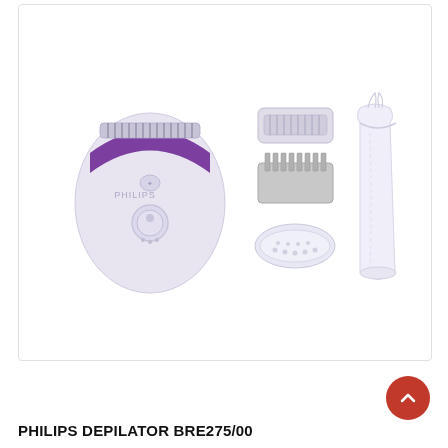[Figure (photo): Philips BRE275/00 epilator product photo showing the main epilator device (white and purple), three attachments (shaver head, comb attachment, and massage cap/roller), and a white drawstring storage pouch, arranged on a white background.]
PHILIPS DEPILATOR BRE275/00